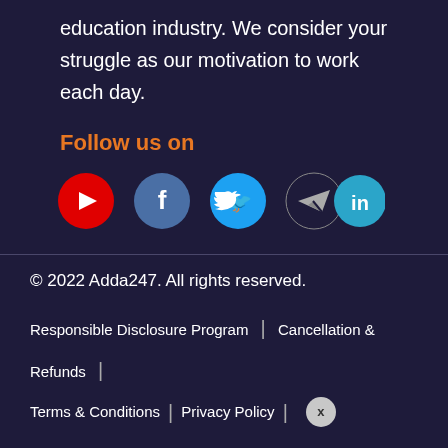education industry. We consider your struggle as our motivation to work each day.
Follow us on
[Figure (illustration): Social media icons: YouTube (red), Facebook (blue-grey), Twitter (light blue), Telegram (dark/grey), LinkedIn (cyan-blue)]
© 2022 Adda247. All rights reserved.
Responsible Disclosure Program | Cancellation & Refunds | Terms & Conditions | Privacy Policy |